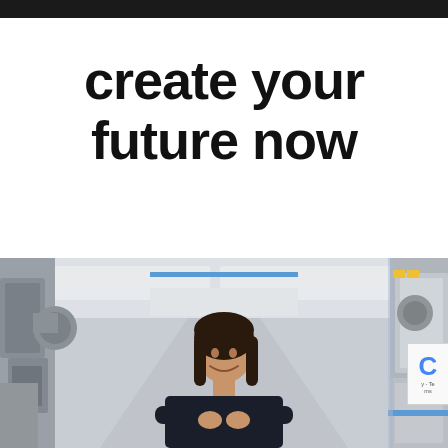create your future now
[Figure (photo): A young woman with crossed arms smiling, standing in a modern technical/industrial corridor with equipment and panels on both sides, brightly lit overhead.]